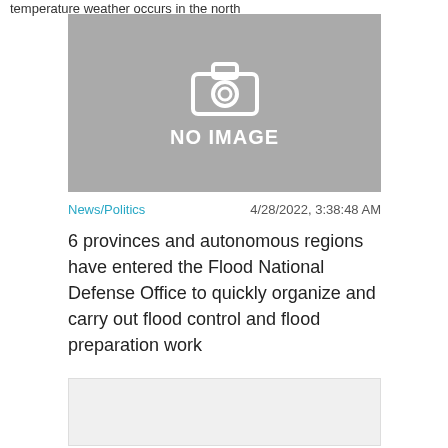temperature weather occurs in the north
[Figure (photo): Placeholder image with camera icon and 'NO IMAGE' text on grey background]
News/Politics   4/28/2022, 3:38:48 AM
6 provinces and autonomous regions have entered the Flood National Defense Office to quickly organize and carry out flood control and flood preparation work
[Figure (other): Grey content box with Close X button in top right corner]